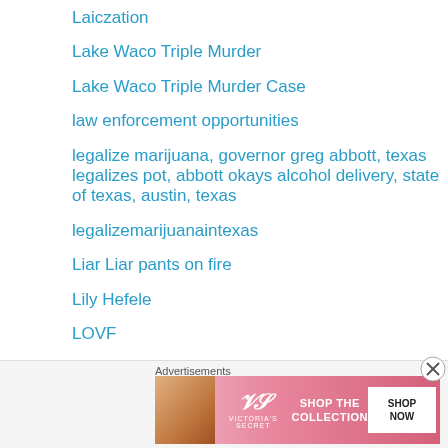Laiczation
Lake Waco Triple Murder
Lake Waco Triple Murder Case
law enforcement opportunities
legalize marijuana, governor greg abbott, texas legalizes pot, abbott okays alcohol delivery, state of texas, austin, texas
legalizemarijuanaintexas
Liar Liar pants on fire
Lily Hefele
LOVF
Magnolia
[Figure (infographic): Victoria's Secret advertisement banner with text 'SHOP THE COLLECTION' and 'SHOP NOW' button, with a woman's photo on the left side. Labeled 'Advertisements' above.]